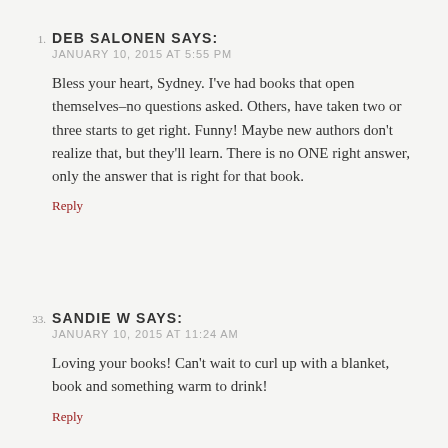1. DEB SALONEN SAYS:
JANUARY 10, 2015 AT 5:55 PM
Bless your heart, Sydney. I've had books that open themselves–no questions asked. Others, have taken two or three starts to get right. Funny! Maybe new authors don't realize that, but they'll learn. There is no ONE right answer, only the answer that is right for that book.
Reply
33. SANDIE W SAYS:
JANUARY 10, 2015 AT 11:24 AM
Loving your books! Can't wait to curl up with a blanket, book and something warm to drink!
Reply